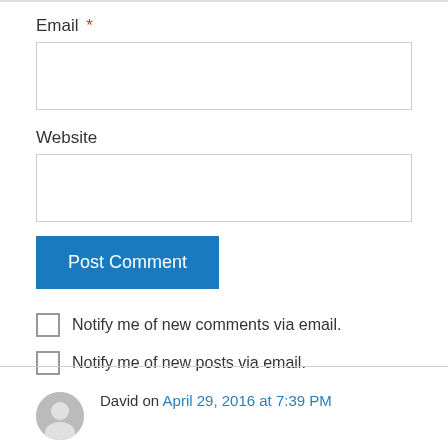Email *
[Figure (other): Empty email input text field]
Website
[Figure (other): Empty website input text field]
Post Comment
Notify me of new comments via email.
Notify me of new posts via email.
David on April 29, 2016 at 7:39 PM
Hi Team Oyeniyi,